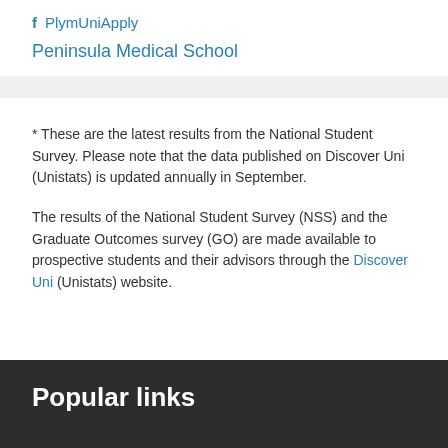f  PlymUniApply
Peninsula Medical School
* These are the latest results from the National Student Survey. Please note that the data published on Discover Uni (Unistats) is updated annually in September.
The results of the National Student Survey (NSS) and the Graduate Outcomes survey (GO) are made available to prospective students and their advisors through the Discover Uni (Unistats) website.
Popular links